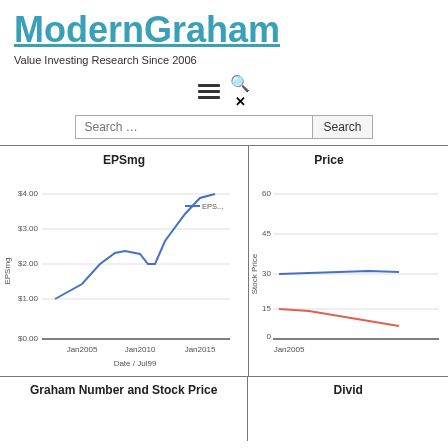ModernGraham
Value Investing Research Since 2006
[Figure (line-chart): EPSmg]
[Figure (line-chart): Price]
Graham Number and Stock Price
Divid